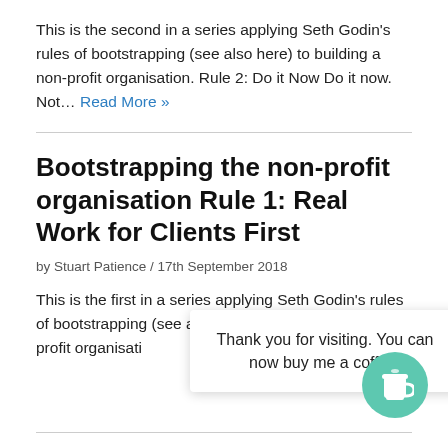This is the second in a series applying Seth Godin's rules of bootstrapping (see also here) to building a non-profit organisation. Rule 2: Do it Now Do it now. Not… Read More »
Bootstrapping the non-profit organisation Rule 1: Real Work for Clients First
by Stuart Patience / 17th September 2018
This is the first in a series applying Seth Godin's rules of bootstrapping (see also here) to building a non-profit organisati… More »
Thank you for visiting. You can now buy me a coffee!
The meat is on the street